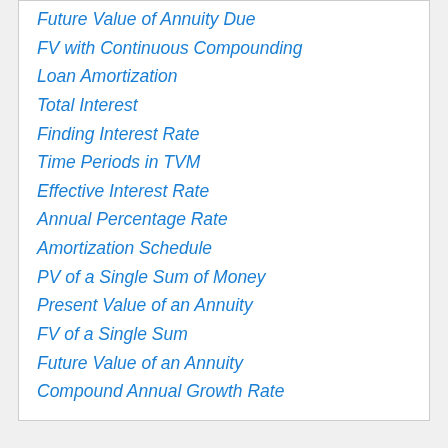Future Value of Annuity Due
FV with Continuous Compounding
Loan Amortization
Total Interest
Finding Interest Rate
Time Periods in TVM
Effective Interest Rate
Annual Percentage Rate
Amortization Schedule
PV of a Single Sum of Money
Present Value of an Annuity
FV of a Single Sum
Future Value of an Annuity
Compound Annual Growth Rate